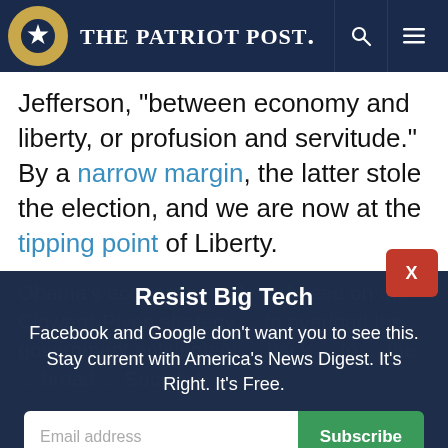The Patriot Post
Jefferson, "between economy and liberty, or profusion and servitude." By a narrow margin, the latter stole the election, and we are now at the tipping point of Liberty.
[Figure (screenshot): Modal popup overlay on dark background with title 'Resist Big Tech', body text 'Facebook and Google don't want you to see this. Stay current with America's News Digest. It's Right. It's Free.', email input with Subscribe button, and 'I'm Already Subscribed' button. Red X close button in top right.]
Obama's economic model is based on the Cloward-Piven strategy ... to overload the government entitlement ...
if Obama wins ...